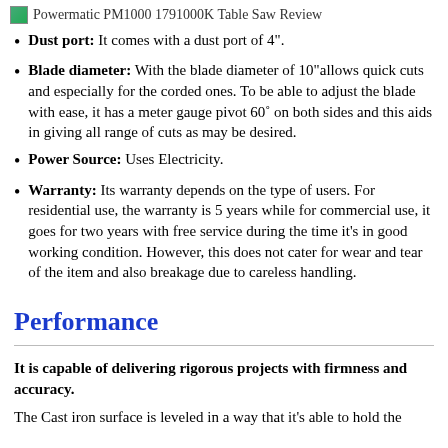Powermatic PM1000 1791000K Table Saw Review
Dust port: It comes with a dust port of 4".
Blade diameter: With the blade diameter of 10"allows quick cuts and especially for the corded ones. To be able to adjust the blade with ease, it has a meter gauge pivot 60˚ on both sides and this aids in giving all range of cuts as may be desired.
Power Source: Uses Electricity.
Warranty: Its warranty depends on the type of users. For residential use, the warranty is 5 years while for commercial use, it goes for two years with free service during the time it’s in good working condition. However, this does not cater for wear and tear of the item and also breakage due to careless handling.
Performance
It is capable of delivering rigorous projects with firmness and accuracy.
The Cast iron surface is leveled in a way that it’s able to hold the